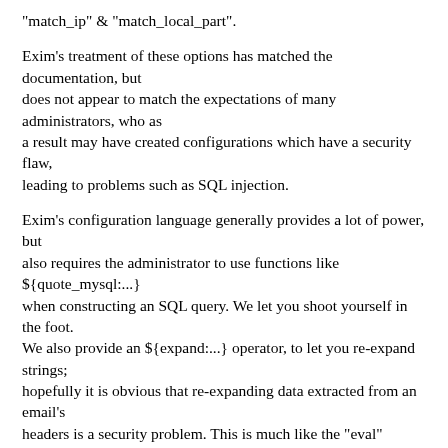"match_ip" & "match_local_part".
Exim's treatment of these options has matched the documentation, but does not appear to match the expectations of many administrators, who as a result may have created configurations which have a security flaw, leading to problems such as SQL injection.
Exim's configuration language generally provides a lot of power, but also requires the administrator to use functions like ${quote_mysql:...} when constructing an SQL query. We let you shoot yourself in the foot. We also provide an ${expand:...} operator, to let you re-expand strings; hopefully it is obvious that re-expanding data extracted from an email's headers is a security problem. This is much like the "eval" functionality of many scripting languages.
In the case of the match_* operators, the problem is more subtle and too